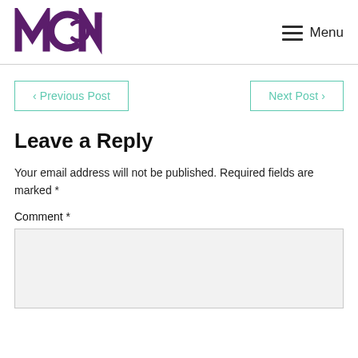[Figure (logo): MCN logo in dark purple with stylized letters M, C, N and a crescent-like design element, with a registered trademark symbol]
Menu
‹ Previous Post
Next Post ›
Leave a Reply
Your email address will not be published. Required fields are marked *
Comment *